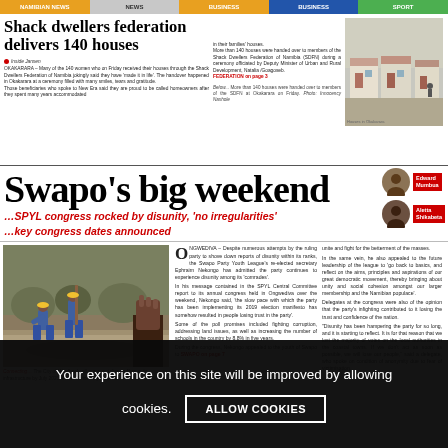NAMIBIAN NEWS | NEWS | BUSINESS | SPORT
Shack dwellers federation delivers 140 houses
Inside Jansen
OKAKARARA – Many of the 140 women who on Friday received their houses through the Shack Dwellers Federation of Namibia jokingly said they have 'made it in life'. The handover happened in Okakarara at a ceremony filled with many smiles, tears and gratitude.
Those beneficiaries who spoke to New Era said they are proud to be called homeowners after they spent many years accommodated in their families' houses.
More than 140 houses were handed over to members of the Shack Dwellers Federation of Namibia (SDFN) during a ceremony officiated by Deputy Minister of Urban and Rural Development, Natalia /Goagoseb.
FEDERATION on page 3
Below... More than 140 houses were handed over to members of the SDFN at Okakarara on Friday. Photo: Innocency Nashole
Swapo's big weekend
…SPYL congress rocked by disunity, 'no irregularities'
…key congress dates announced
Edward Mumbua
Aletta Shikabeta
[Figure (photo): Workers in blue overalls digging fibre optic infrastructure in Windhoek]
Connecting… The City of Windhoek will commercialise its fibre optic infrastructure by July 2023. Photo: Innocency Nashole
ONGWEDIVA – Despite numerous attempts by the ruling party to shove down reports of disunity within its ranks, the Swapo Party Youth League's re-elected secretary Ephraim Nekongo has admitted the party continues to experience disunity among its 'comrades'.
In his message contained in the SPYL Central Committee report to its annual congress held in Ongwediva over the weekend, Nekongo said, 'the slow pace with which the party has been implementing its 2019 election manifesto has somehow resulted in people losing trust in the party'.
Some of the poll promises included fighting corruption, addressing land issues, as well as increasing the number of schools in the country by 8.8% in five years.
During the congress, Nekongo appealed to the youth of Swapo to unite and fight for the betterment of the masses.
In the same vein, he also appealed to the future leadership of the league to 'go back to basics, and reflect on the aims, principles and aspirations of our great democratic movement, thereby bringing about unity and social cohesion amongst our larger membership and the Namibian populace'.
Delegates at the congress were also of the opinion that the party's infighting contributed to it losing the trust and confidence of the nation.
'Disunity has been hampering the party for so long, and it is starting to reflect. It is for that reason that we lost the majority of votes on the local authorities in the coastal towns. If we don't act as soon as possible, we will lose our people,' said a delegate, who spoke on condition of anonymity due to fear of victimisation.
SWAPO on page 7
Your experience on this site will be improved by allowing cookies.
ALLOW COOKIES